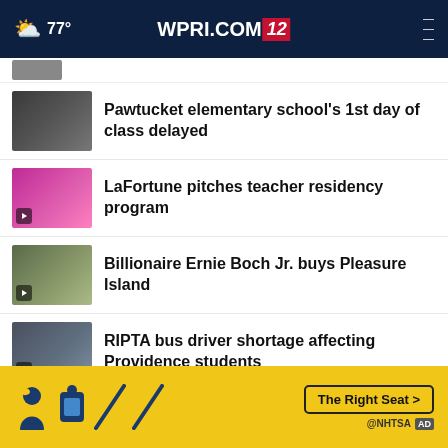77° WPRI.COM 12
[Figure (screenshot): Partially visible thumbnail at top]
Pawtucket elementary school's 1st day of class delayed
LaFortune pitches teacher residency program
Billionaire Ernie Boch Jr. buys Pleasure Island
RIPTA bus driver shortage affecting Providence students
Man tossed 'suspected drugs' into New Bedford prison
expected to grow
[Figure (infographic): NHTSA The Right Seat advertisement banner]